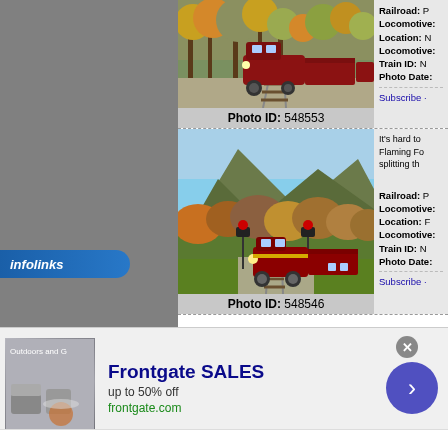[Figure (photo): Red passenger train locomotive traveling through autumn foliage forest on railroad tracks, brown, gold and green trees]
Photo ID: 548553
Railroad: P
Locomotive:
Location: N
Locomotive:
Train ID: N
Photo Date:
Subscribe ·
[Figure (photo): Red passenger train locomotive at a crossing with signal lights, mountains covered with autumn foliage in background]
Photo ID: 548546
It's hard to
Flaming Fo
splitting th
Railroad: P
Locomotive:
Location: F
Locomotive:
Train ID: N
Photo Date:
Subscribe ·
[Figure (logo): infolinks logo on blue banner]
[Figure (photo): Advertisement image showing outdoor patio furniture with fire pit]
Frontgate SALES
up to 50% off
frontgate.com